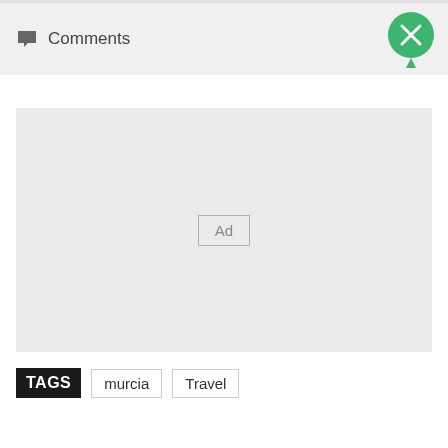Comments
[Figure (other): Advertisement placeholder box with 'Ad' label centered in a light gray rectangle]
TAGS  murcia  Travel